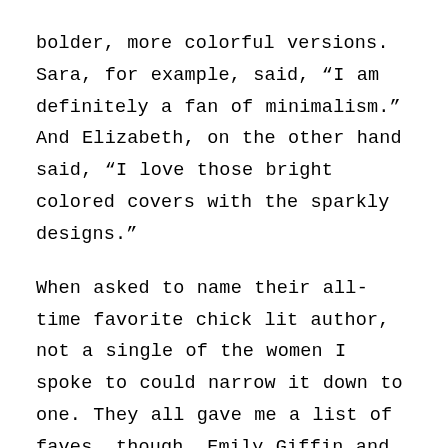bolder, more colorful versions. Sara, for example, said, “I am definitely a fan of minimalism.” And Elizabeth, on the other hand said, “I love those bright colored covers with the sparkly designs.”
When asked to name their all-time favorite chick lit author, not a single of the women I spoke to could narrow it down to one. They all gave me a list of faves, though. Emily Giffin and Sophie Kinsella tied for first place with the most votes, followed by Marian Keyes, and then (in no particular order) Jen Lancaster, Jane Greene, Sara Jio, Jennifer Weiner and Meg Donohue. It was slightly surprising to me that no one mentioned Helen Fielding as a fave. All but one of the women I spoke to said Bridget